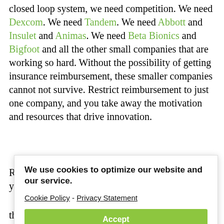closed loop system, we need competition. We need Dexcom. We need Tandem. We need Abbott and Insulet and Animas. We need Beta Bionics and Bigfoot and all the other small companies that are working so hard. Without the possibility of getting insurance reimbursement, these smaller companies cannot not survive. Restrict reimbursement to just one company, and you take away the motivation and resources that drive innovation.
Restrict reimbursement to just one company, and you take away our hope.
the major test strip manufacturers, the ones that
[Figure (screenshot): Cookie consent banner overlay with text 'We use cookies to optimize our website and our service.' with links to Cookie Policy and Privacy Statement, and an Accept button.]